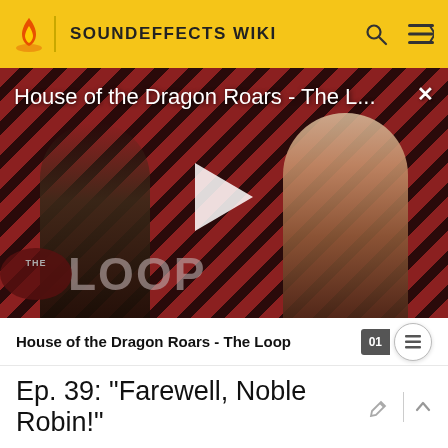SOUNDEFFECTS WIKI
[Figure (screenshot): Video thumbnail for 'House of the Dragon Roars - The L...' showing two characters from House of the Dragon in front of a diagonal striped red/black background. A play button is visible in the center. THE LOOP logo appears in the bottom left. An X close button is in the top right.]
House of the Dragon Roars - The L...
House of the Dragon Roars - The Loop
Ep. 39: "Farewell, Noble Robin!"